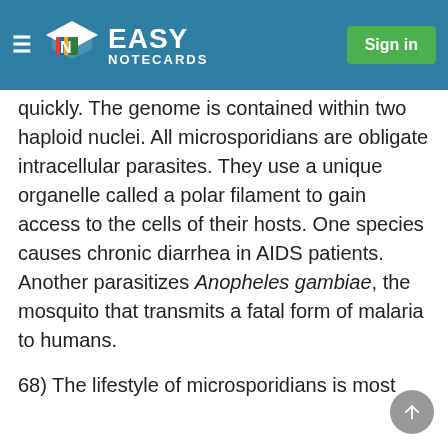Easy Notecards — Sign in
quickly. The genome is contained within two haploid nuclei. All microsporidians are obligate intracellular parasites. They use a unique organelle called a polar filament to gain access to the cells of their hosts. One species causes chronic diarrhea in AIDS patients. Another parasitizes Anopheles gambiae, the mosquito that transmits a fatal form of malaria to humans.
68) The lifestyle of microsporidians is most